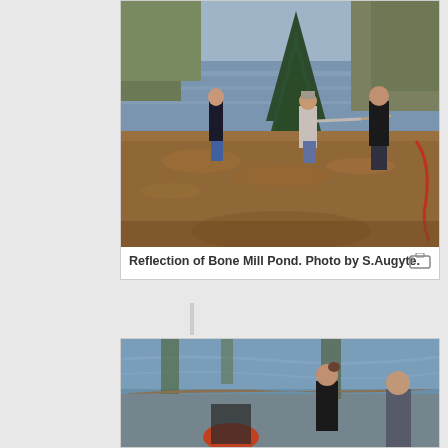[Figure (photo): Three people standing on the leaf-covered bank of Bone Mill Pond. A woman in a dark coat on the left, a person in a light jacket in the center holding something extended, and a person in a dark jacket on the right. A pine tree and pond reflection visible in the background.]
Reflection of Bone Mill Pond. Photo by S.Augyte.
[Figure (photo): People standing near the edge of a pond, partially cropped. A woman with a bun hairstyle facing the water, and another person wearing a red/orange hat visible in lower portion. Pond reflection of trees visible.]